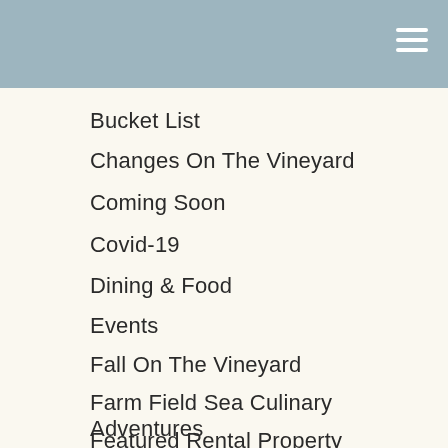Bucket List
Changes On The Vineyard
Coming Soon
Covid-19
Dining & Food
Events
Fall On The Vineyard
Farm Field Sea Culinary Adventures
Featured Rental Property
Featured Sales Property
Fitness on Marthas Vineyard